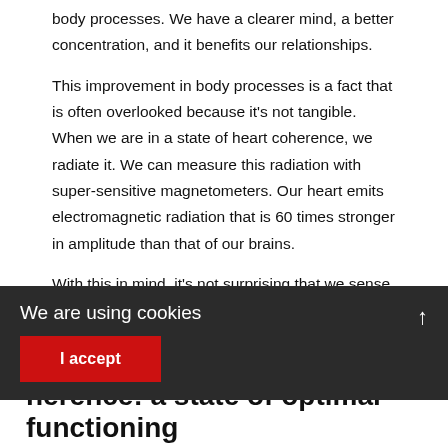body processes. We have a clearer mind, a better concentration, and it benefits our relationships.
This improvement in body processes is a fact that is often overlooked because it's not tangible. When we are in a state of heart coherence, we radiate it. We can measure this radiation with super-sensitive magnetometers. Our heart emits electromagnetic radiation that is 60 times stronger in amplitude than that of our brains.
With this in mind, it's not surprising that we sense whether someone is feeling good or not or whether a situation feels uncomfortable. We feel the energy that surrounds someone as a kind of aura.
We are using cookies
I accept
herence: a state of optimal functioning